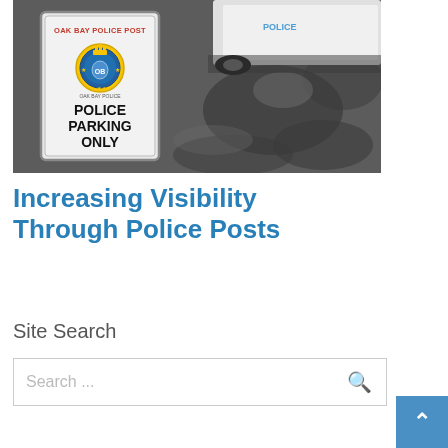[Figure (photo): Photo of an Oak Bay Police Post sign reading 'POLICE PARKING ONLY' with a police badge, in front of a police vehicle in a parking lot with dappled shadows on the ground.]
Increasing Visibility Through Police Posts
Site Search
Search ...